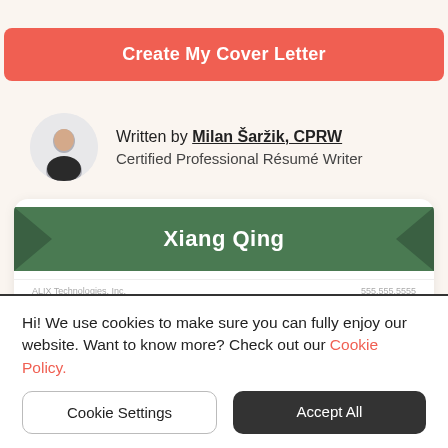Create My Cover Letter
Written by Milan Šaržik, CPRW
Certified Professional Résumé Writer
[Figure (illustration): Resume preview card showing a green banner with 'Xiang Qing' name and partial resume footer with 'ALIX Technologies, Inc.' and '555.555.5555']
Hi! We use cookies to make sure you can fully enjoy our website. Want to know more? Check out our Cookie Policy.
Cookie Settings
Accept All